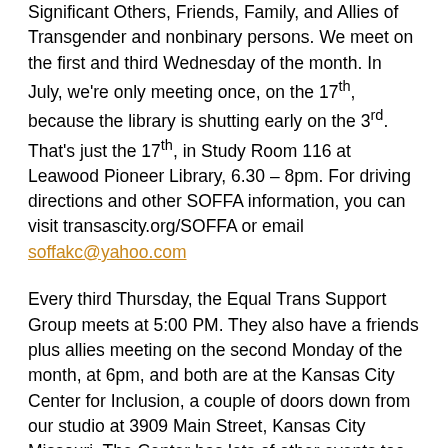Significant Others, Friends, Family, and Allies of Transgender and nonbinary persons. We meet on the first and third Wednesday of the month. In July, we're only meeting once, on the 17th, because the library is shutting early on the 3rd. That's just the 17th, in Study Room 116 at Leawood Pioneer Library, 6.30 – 8pm. For driving directions and other SOFFA information, you can visit transascity.org/SOFFA or email soffakc@yahoo.com
Every third Thursday, the Equal Trans Support Group meets at 5:00 PM. They also have a friends plus allies meeting on the second Monday of the month, at 6pm, and both are at the Kansas City Center for Inclusion, a couple of doors down from our studio at 3909 Main Street, Kansas City Missouri. The Center has lots of other events too, which can be found on their Facebook page at https://www.facebook.com/InclusiveKC/
JoCo Q-Space is a youth group for LGBTQ youth. They meet